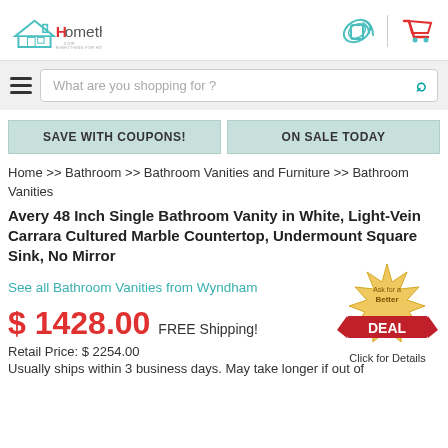[Figure (logo): Homethangs.com logo with house icon and tagline 'EVERYTHING FOR HOME', plus mobile and cart icons in header]
What are you shopping for ?
SAVE WITH COUPONS!	ON SALE TODAY
Home >> Bathroom >> Bathroom Vanities and Furniture >> Bathroom Vanities
Avery 48 Inch Single Bathroom Vanity in White, Light-Vein Carrara Cultured Marble Countertop, Undermount Square Sink, No Mirror
See all Bathroom Vanities from Wyndham
[Figure (illustration): Ask for a Better DEAL - Click for Details badge with gold starburst and red ribbon]
$ 1428.00  FREE Shipping!
Retail Price: $ 2254.00
Usually ships within 3 business days. May take longer if out of